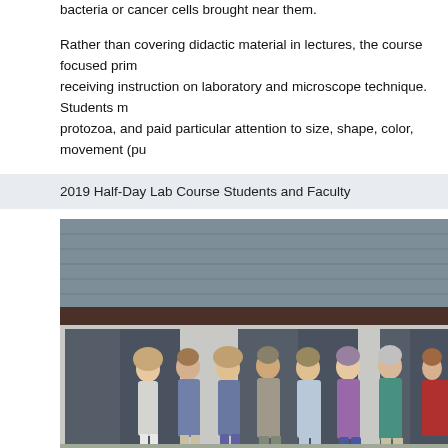bacteria or cancer cells brought near them.
Rather than covering didactic material in lectures, the course focused primarily on receiving instruction on laboratory and microscope technique. Students m... protozoa, and paid particular attention to size, shape, color, movement (pu...
2019 Half-Day Lab Course Students and Faculty
[Figure (photo): Group photo of approximately 9 people standing in front of a building with sliding glass doors and a shingled roof. The group consists of men and women of various ages, dressed casually, some wearing name tags.]